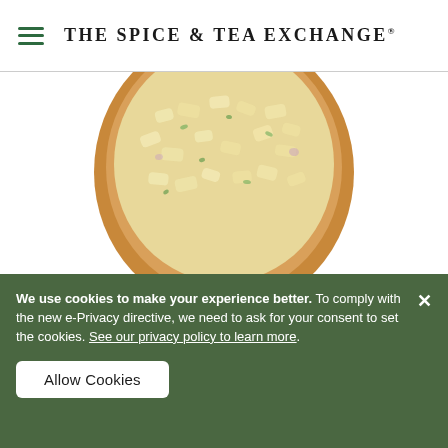THE SPICE & TEA EXCHANGE®
[Figure (photo): Top-down view of a wooden spoon or bowl containing light-colored spice blend (garlic flakes and herbs), partially cropped at the top of the image.]
Vik's Garlic Fix! Spice Blend : 2.5 ounce in Flip-Top Shaker Jar
We use cookies to make your experience better. To comply with the new e-Privacy directive, we need to ask for your consent to set the cookies. See our privacy policy to learn more.
Allow Cookies